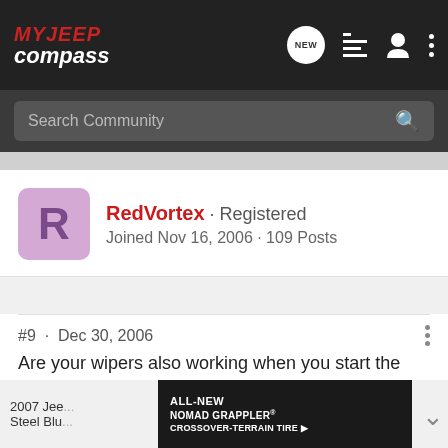MY JEEP compass
Search Community
RedVortex · Registered
Joined Nov 16, 2006 · 109 Posts
#9 · Dec 30, 2006
Are your wipers also working when you start the Jeep with the remote or is it just me having this annoying problem ?

RedVortex
2007 Jee...
Steel Blu...
[Figure (screenshot): Advertisement banner for Nitto ALL-NEW NOMAD GRAPPLER CROSSOVER-TERRAIN TIRE]